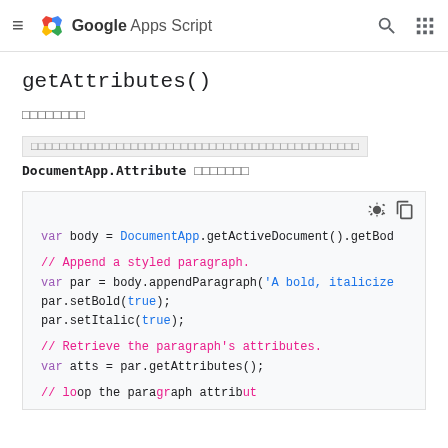Google Apps Script
getAttributes()
（日本語）
（戻り値のテキストブロック）
DocumentApp.Attribute （オブジェクト）
[Figure (screenshot): Code block showing JavaScript snippet using DocumentApp API with syntax highlighting: var body = DocumentApp.getActiveDocument().getBody(), append paragraph, setBold, setItalic, getAttributes calls.]